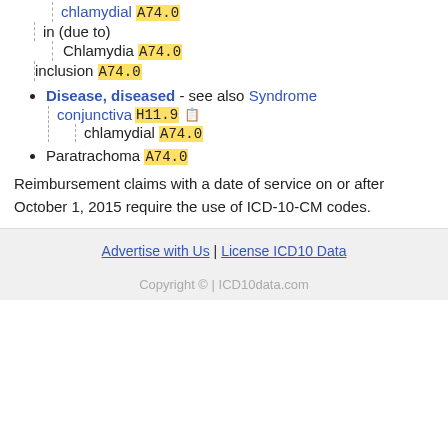chlamydial A74.0
in (due to)
Chlamydia A74.0
inclusion A74.0
Disease, diseased - see also Syndrome
conjunctiva H11.9
chlamydial A74.0
Paratrachoma A74.0
Reimbursement claims with a date of service on or after October 1, 2015 require the use of ICD-10-CM codes.
Advertise with Us | License ICD10 Data
Copyright © | ICD10data.com